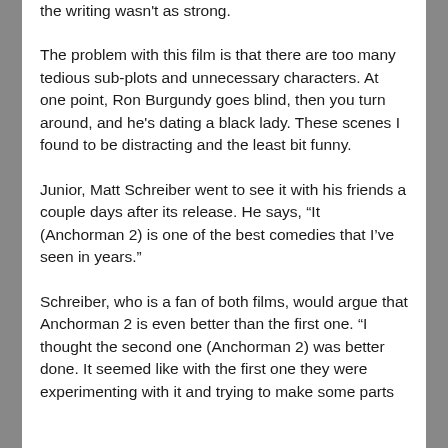the writing wasn't as strong.
The problem with this film is that there are too many tedious sub-plots and unnecessary characters. At one point, Ron Burgundy goes blind, then you turn around, and he's dating a black lady. These scenes I found to be distracting and the least bit funny.
Junior, Matt Schreiber went to see it with his friends a couple days after its release. He says, “It (Anchorman 2) is one of the best comedies that I’ve seen in years.”
Schreiber, who is a fan of both films, would argue that Anchorman 2 is even better than the first one. “I thought the second one (Anchorman 2) was better done. It seemed like with the first one they were experimenting with it and trying to make some parts